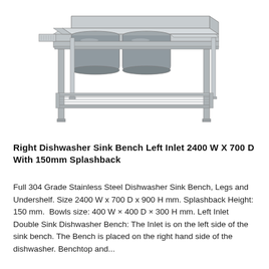[Figure (illustration): Stainless steel commercial dishwasher sink bench with two rectangular sinks/bowls on the left side, a flat bench area on the right, a raised splashback along the back, four legs, and a slatted undershelf. The unit is shown in a perspective/isometric style photo-realistic illustration.]
Right Dishwasher Sink Bench Left Inlet 2400 W X 700 D With 150mm Splashback
Full 304 Grade Stainless Steel Dishwasher Sink Bench, Legs and Undershelf. Size 2400 W x 700 D x 900 H mm. Splashback Height: 150 mm.  Bowls size: 400 W × 400 D × 300 H mm. Left Inlet Double Sink Dishwasher Bench: The Inlet is on the left side of the sink bench. The Bench is placed on the right hand side of the dishwasher. Benchtop and...